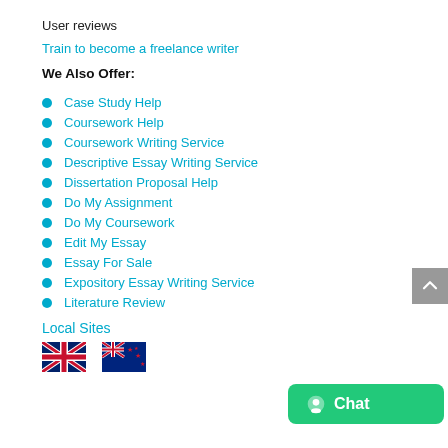User reviews
Train to become a freelance writer
We Also Offer:
Case Study Help
Coursework Help
Coursework Writing Service
Descriptive Essay Writing Service
Dissertation Proposal Help
Do My Assignment
Do My Coursework
Edit My Essay
Essay For Sale
Expository Essay Writing Service
Literature Review
Local Sites
[Figure (other): UK flag icon]
[Figure (other): New Zealand flag icon]